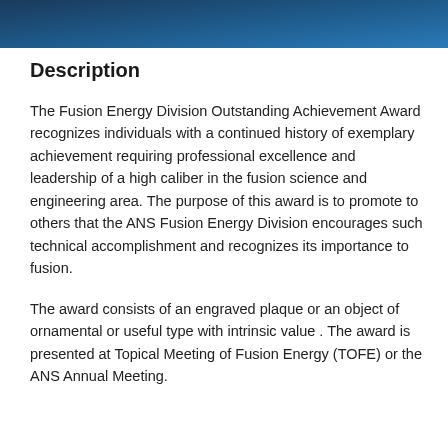Description
The Fusion Energy Division Outstanding Achievement Award recognizes individuals with a continued history of exemplary achievement requiring professional excellence and leadership of a high caliber in the fusion science and engineering area. The purpose of this award is to promote to others that the ANS Fusion Energy Division encourages such technical accomplishment and recognizes its importance to fusion.
The award consists of an engraved plaque or an object of ornamental or useful type with intrinsic value . The award is presented at Topical Meeting of Fusion Energy (TOFE) or the ANS Annual Meeting.